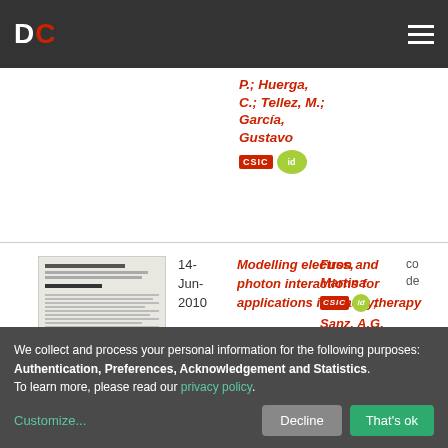DC
P.; Huerga, C.; Tellez, M.; García, Gustavo
14-Jun-2010
Modelling electron and photon interactions for applications in brachytherapy
Fuss, Martina; Sanz, A.G.; Muñoz, A.; Oller,
We collect and process your personal information for the following purposes: Authentication, Preferences, Acknowledgement and Statistics. To learn more, please read our privacy policy.
Customize...
Decline
That's ok